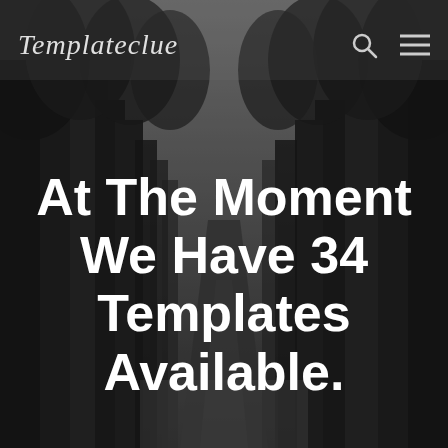[Figure (photo): Dark moody black and white forest road photo used as full-page background]
Templateclue
At The Moment We Have 34 Templates Available.
e.g. 'Responsive Template'
TEMPLATECLUE BLOG
PURCHASE THEMES